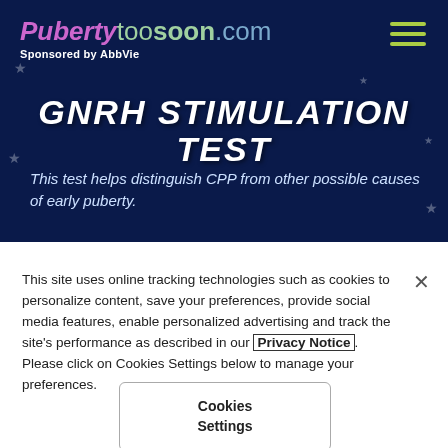Puberty too soon.com — Sponsored by AbbVie
GnRH Stimulation Test
This test helps distinguish CPP from other possible causes of early puberty.
This site uses online tracking technologies such as cookies to personalize content, save your preferences, provide social media features, enable personalized advertising and track the site's performance as described in our Privacy Notice. Please click on Cookies Settings below to manage your preferences.
Cookies Settings